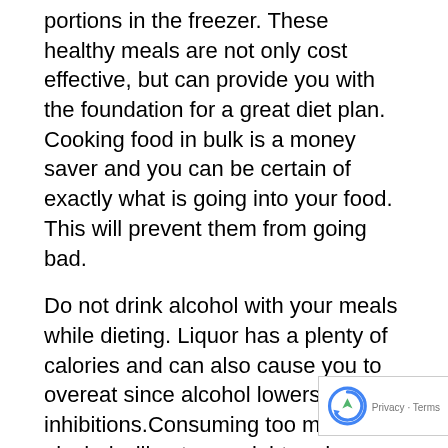portions in the freezer. These healthy meals are not only cost effective, but can provide you with the foundation for a great diet plan. Cooking food in bulk is a money saver and you can be certain of exactly what is going into your food. This will prevent them from going bad.
Do not drink alcohol with your meals while dieting. Liquor has a plenty of calories and can also cause you to overeat since alcohol lowers your inhibitions.Consuming too much alcohol will put on weight and cause you to avoid eating healthier alternatives.
This will show your weight loss efforts are working. Keep the numbers logged in a notebook so you can track your progress. People that follow this experience better weight loss.
Never skip any meals. Remember to eat three times a day. You can eat snacks in between but make sure to get the array of nutrients in your meals. This will keep you from getting hungry throughout the day and prevent mindless